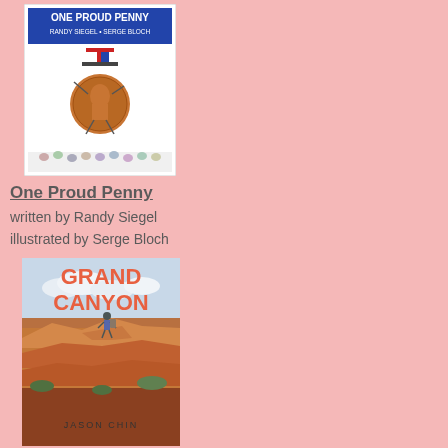[Figure (illustration): Book cover of 'One Proud Penny' by Randy Siegel and Serge Bloch, showing a cartoon penny character wearing a top hat with American flag colors on a white background]
One Proud Penny
written by Randy Siegel
illustrated by Serge Bloch
[Figure (illustration): Book cover of 'Grand Canyon' by Jason Chin, showing a hiker standing on a cliff overlooking the Grand Canyon with orange 'GRAND CANYON' text and 'JASON CHIN' author name]